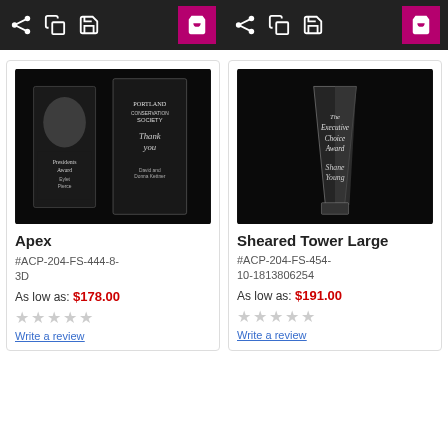[Figure (screenshot): Two product toolbar sections with share, copy, save, and cart icons on dark background with pink/magenta cart button]
[Figure (photo): Crystal Apex award product photo showing two crystal trophies on black background with engraved text]
Apex
#ACP-204-FS-444-8-3D
As low as: $178.00
Write a review
[Figure (photo): Crystal Sheared Tower Large award product photo showing a single tall tapered crystal trophy on black background]
Sheared Tower Large
#ACP-204-FS-454-10-1813806254
As low as: $191.00
Write a review